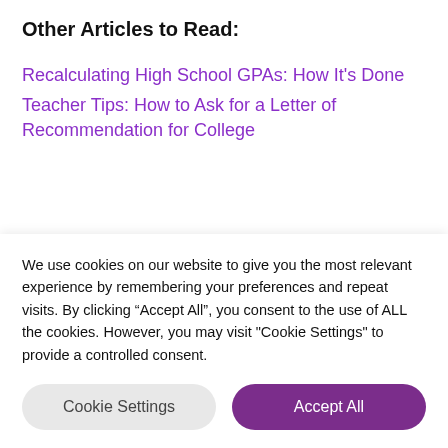Other Articles to Read:
Recalculating High School GPAs: How It's Done
Teacher Tips: How to Ask for a Letter of Recommendation for College
CONNECT WITH OTHER PARENTS TRYING TO
We use cookies on our website to give you the most relevant experience by remembering your preferences and repeat visits. By clicking “Accept All”, you consent to the use of ALL the cookies. However, you may visit "Cookie Settings" to provide a controlled consent.
Cookie Settings | Accept All